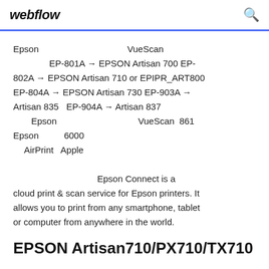webflow
Epson                          VueScan
EP-801A → EPSON Artisan 700 EP-802A → EPSON Artisan 710 or EPIPR_ART800 EP-804A → EPSON Artisan 730 EP-903A → Artisan 835   EP-904A → Artisan 837
        Epson                        VueScan  861
Epson       6000
   AirPrint   Apple
                             Epson Connect is a cloud print & scan service for Epson printers. It allows you to print from any smartphone, tablet or computer from anywhere in the world.
EPSON Artisan710/PX710/TX710